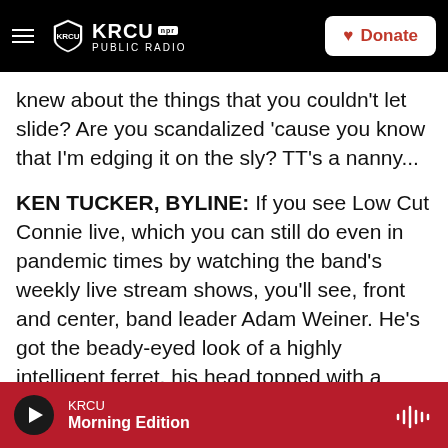KRCU NPR PUBLIC RADIO | Donate
knew about the things that you couldn't let slide? Are you scandalized 'cause you know that I'm edging it on the sly? TT's a nanny...
KEN TUCKER, BYLINE: If you see Low Cut Connie live, which you can still do even in pandemic times by watching the band's weekly live stream shows, you'll see, front and center, band leader Adam Weiner. He's got the beady-eyed look of a highly intelligent ferret, his head topped with a mass of untamed curly hair. At some point in every proceeding, he strips down to reveal a sleeveless undershirt and pasty skin. Free of both vanity and
KRCU | Morning Edition